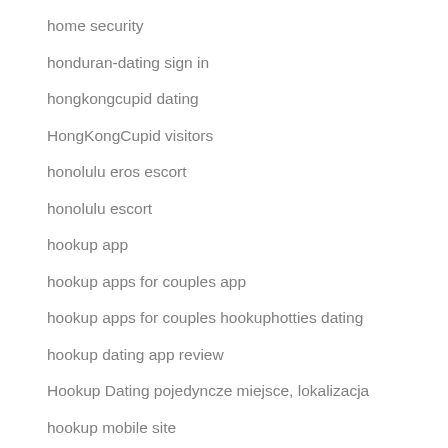home security
honduran-dating sign in
hongkongcupid dating
HongKongCupid visitors
honolulu eros escort
honolulu escort
hookup app
hookup apps for couples app
hookup apps for couples hookuphotties dating
hookup dating app review
Hookup Dating pojedyncze miejsce, lokalizacja
hookup mobile site
hookup nedir
hookup reviews
hookup sites